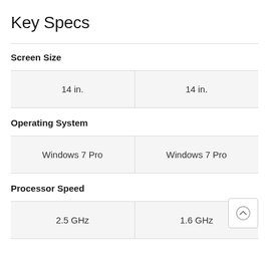Key Specs
Screen Size
| 14 in. | 14 in. |
Operating System
| Windows 7 Pro | Windows 7 Pro |
Processor Speed
| 2.5 GHz | 1.6 GHz |